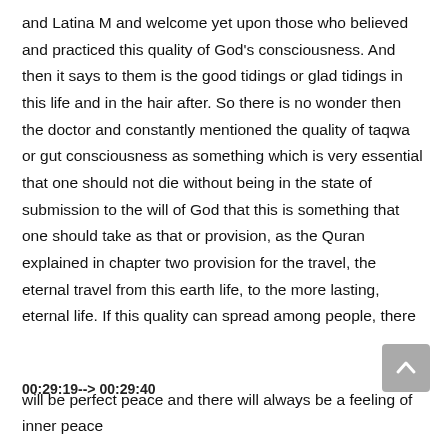and Latina M and welcome yet upon those who believed and practiced this quality of God's consciousness. And then it says to them is the good tidings or glad tidings in this life and in the hair after. So there is no wonder then the doctor and constantly mentioned the quality of taqwa or gut consciousness as something which is very essential that one should not die without being in the state of submission to the will of God that this is something that one should take as that or provision, as the Quran explained in chapter two provision for the travel, the eternal travel from this earth life, to the more lasting, eternal life. If this quality can spread among people, there
00:29:19--> 00:29:40
will be perfect peace and there will always be a feeling of inner peace